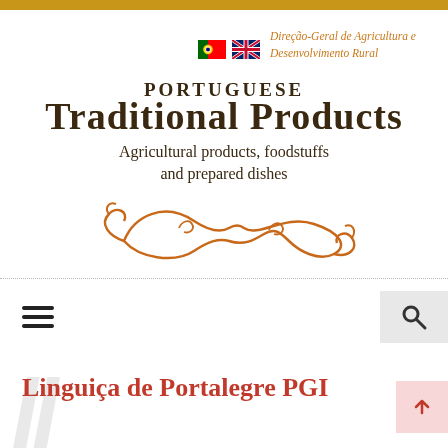Direção-Geral de Agricultura e Desenvolvimento Rural
PORTUGUESE TRADITIONAL PRODUCTS Agricultural products, foodstuffs and prepared dishes
[Figure (illustration): Decorative orange/brown swirl/flourish ornament]
Linguiça de Portalegre PGI